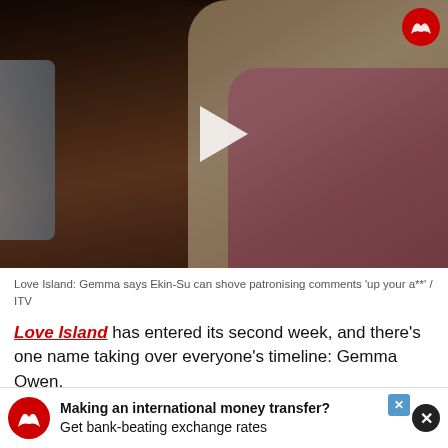[Figure (photo): Video thumbnail showing two women lounging together. One has dark hair and sunglasses, the other is blonde wearing pink. A white play button triangle is overlaid in the center.]
Love Island: Gemma says Ekin-Su can shove patronising comments 'up your a**' / ITV
Love Island has entered its second week, and there's one name taking over everyone's timeline: Gemma Owen.
The daughter of former football ace Michael Owen started her Love Island journey with Liam Llewellyn, 21 who left the show fi... coupled with 27... stir
[Figure (infographic): Advertisement banner: Making an international money transfer? Get bank-beating exchange rates. Red eagle logo on left. Blue X close button.]